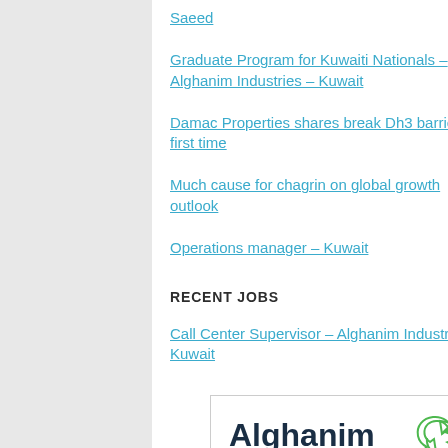Saeed
Graduate Program for Kuwaiti Nationals – Alghanim Industries – Kuwait
Damac Properties shares break Dh3 barrier for first time
Much cause for chagrin on global growth outlook
Operations manager – Kuwait
RECENT JOBS
Call Center Supervisor – Alghanim Industries – Kuwait
[Figure (logo): Alghanim Industries logo with green swirl icon]